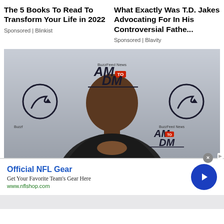The 5 Books To Read To Transform Your Life in 2022
Sponsored | Blinkist
What Exactly Was T.D. Jakes Advocating For In His Controversial Fathe...
Sponsored | Blavity
[Figure (photo): Man with hands pressed together in prayer gesture, wearing a black puffer jacket, posing in front of a BuzzFeed News AM to DM backdrop with circular trending logos on either side]
Official NFL Gear
Get Your Favorite Team's Gear Here
www.nflshop.com